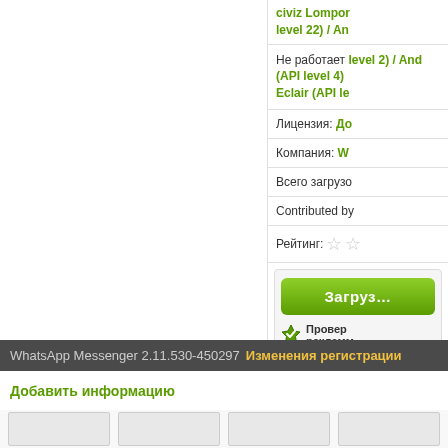civiz Lompor level 22) / An
Не работает level 2) / And (API level 4) Eclair (API le
Лицензия: До
Компания: W
Всего загрузо
Contributed by
Рейтинг: ☆☆
[Figure (screenshot): Green download button labeled Загруз...]
Проверено, без рекламы
WhatsApp Messenger 2.11.530-450297  Изменения регистрации
Добавить информацию
WhatsApp Messenger 2.11.530-450297  Скриншоты
[Figure (screenshot): Thumbnail images row at bottom]